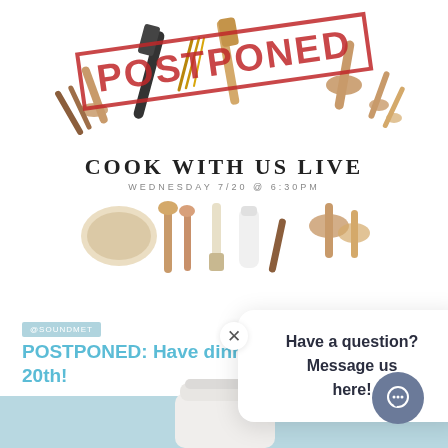[Figure (illustration): Cooking tools (spatulas, spoons, whisks) scattered with a red POSTPONED stamp overlay, followed by text COOK WITH US LIVE and subtitle WEDNESDAY 7/20 @ 6:30PM, and a second row of cooking utensils below]
POSTPONED: Have dinner with us on the 20th!
This event has been postponed;
[Figure (screenshot): Chat popup overlay with close X button and message: Have a question? Message us here!]
[Figure (illustration): Bottom light blue band with top of a white jar/bottle visible]